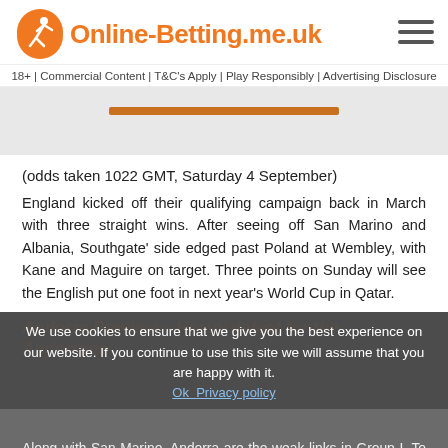Online-Betting.me.uk
18+ | Commercial Content | T&C's Apply | Play Responsibly | Advertising Disclosure
[Figure (other): Gray banner area with an orange underline/button element]
(odds taken 1022 GMT, Saturday 4 September)
England kicked off their qualifying campaign back in March with three straight wins. After seeing off San Marino and Albania, Southgate' side edged past Poland at Wembley, with Kane and Maguire on target. Three points on Sunday will see the English put one foot in next year's World Cup in Qatar.
Andorra Preview – Heavy defeat for the Andorrans
We use cookies to ensure that we give you the best experience on our website. If you continue to use this site we will assume that you are happy with it.
Along with San Marino, Andorra are the weak links in Group I. To their credit, though, they did get the better of San Marino on Thursday night, with Sandefjord defender Marc Vales scoring both goals in a 2-0 win at the Estadi Nacional in Andorra la Vella.